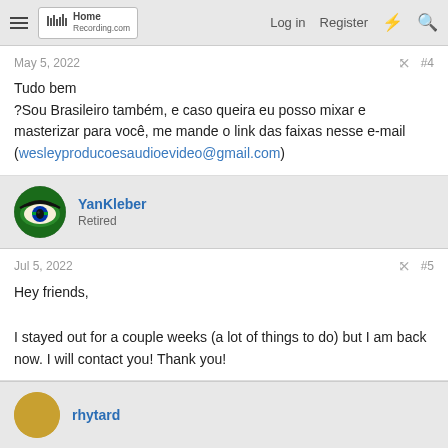Home Recording.com — Log in | Register
May 5, 2022  #4
Tudo bem
?Sou Brasileiro também, e caso queira eu posso mixar e masterizar para você, me mande o link das faixas nesse e-mail (wesleyproducoesaudioevideo@gmail.com)
YanKleber
Retired
Jul 5, 2022  #5
Hey friends,

I stayed out for a couple weeks (a lot of things to do) but I am back now. I will contact you! Thank you!
rhytard